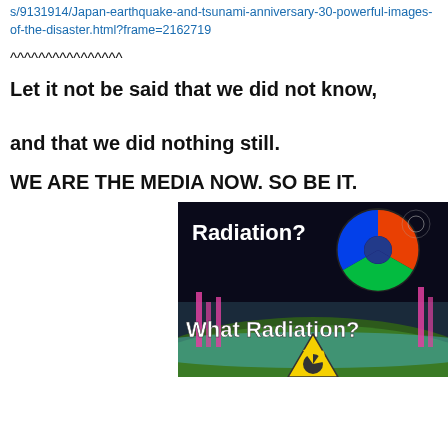s/9131914/Japan-earthquake-and-tsunami-anniversary-30-powerful-images-of-the-disaster.html?frame=2162719
^^^^^^^^^^^^^^^^
Let it not be said that we did not know, and that we did nothing still.
WE ARE THE MEDIA NOW. SO BE IT.
[Figure (photo): Infographic image with text 'Radiation? What Radiation?' showing a radiation symbol over a globe-like background with colorful elements, pink towers, and a yellow radioactive warning sign.]